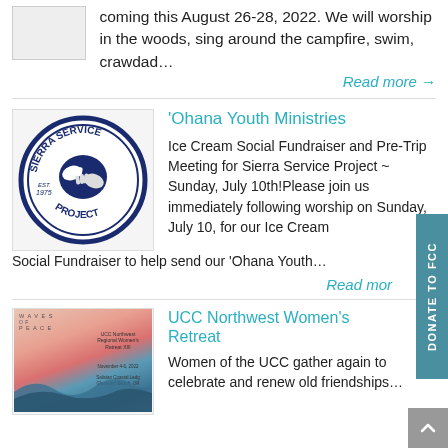coming this August 26-28, 2022. We will worship in the woods, sing around the campfire, swim, crawdad...
Read more →
'Ohana Youth Ministries
[Figure (logo): Sierra Service Project circular logo with two hands and text EST. 1975]
Ice Cream Social Fundraiser and Pre-Trip Meeting for Sierra Service Project ~ Sunday, July 10th!Please join us immediately following worship on Sunday, July 10, for our Ice Cream Social Fundraiser to help send our 'Ohana Youth...
Read more →
UCC Northwest Women's Retreat
[Figure (photo): Waves of Peace - UCC Northwest Regional Women's Retreat XIII flyer with wave illustration]
Women of the UCC gather again to celebrate and renew old friendships...